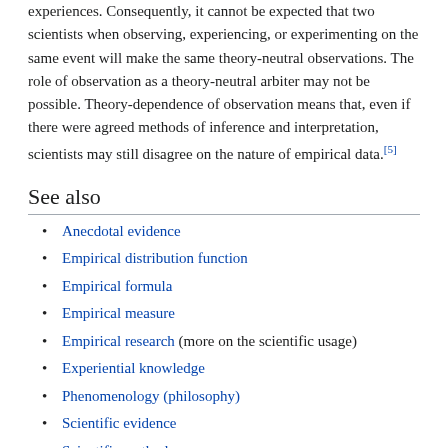experiences. Consequently, it cannot be expected that two scientists when observing, experiencing, or experimenting on the same event will make the same theory-neutral observations. The role of observation as a theory-neutral arbiter may not be possible. Theory-dependence of observation means that, even if there were agreed methods of inference and interpretation, scientists may still disagree on the nature of empirical data.[5]
See also
Anecdotal evidence
Empirical distribution function
Empirical formula
Empirical measure
Empirical research (more on the scientific usage)
Experiential knowledge
Phenomenology (philosophy)
Scientific evidence
Scientific method
Theory